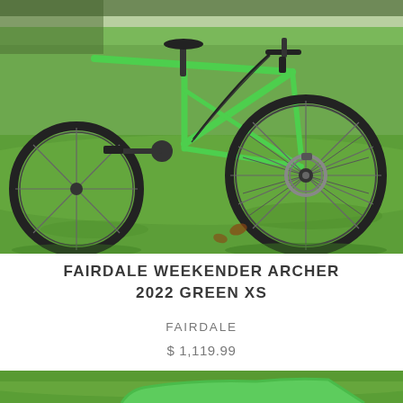[Figure (photo): Green Fairdale Weekender Archer bicycle photographed from the side, focusing on the front wheel and frame, parked on a grass lawn outdoors.]
FAIRDALE WEEKENDER ARCHER 2022 GREEN XS
FAIRDALE
$ 1,119.99
[Figure (photo): Partial view of the same green Fairdale bicycle, showing the bottom portion with grass in background.]